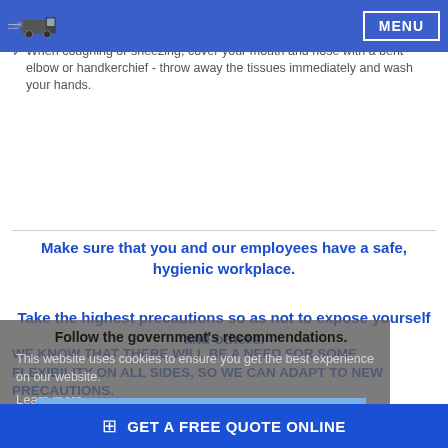MENU
Avoid close contact with everyone, avoid greetings that include physical contact, e.g. handshakes.
When coughing or sneezing, cover your mouth and nose with a bent elbow or handkerchief - throw away the tissues immediately and wash your hands.
Make sure that you and our employees have a safe, hygienic workplace.
Take the highest precautions so as not to expose yourself and others.
Follow the government's recommendations.
WE KNOW THAT THERE WILL BE A NEED FOR SOME FLEXIBILITY ON ALL SIDES, SO WE CAN ADAPT TO NEW PRECAUTIONS.
This website uses cookies to ensure you get the best experience on our website.
Learn more
Got it!
GET A FREE QUOTE ONLINE